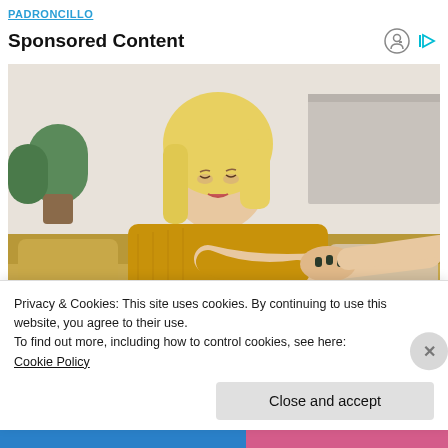PADRONCILLO
Sponsored Content
[Figure (photo): A young blonde woman in a yellow/mustard knit sweater sitting on a couch, looking down and scratching her forearm with her other hand. There are plants and light-colored furniture in the background.]
Privacy & Cookies: This site uses cookies. By continuing to use this website, you agree to their use.
To find out more, including how to control cookies, see here: Cookie Policy
Close and accept